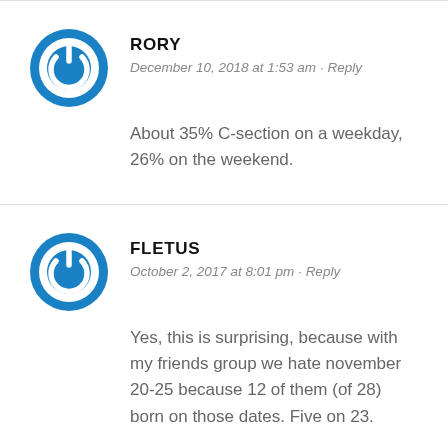[Figure (logo): Blue circular power button icon avatar for user Rory]
RORY
December 10, 2018 at 1:53 am · Reply
About 35% C-section on a weekday, 26% on the weekend.
[Figure (logo): Blue circular power button icon avatar for user Fletus]
FLETUS
October 2, 2017 at 8:01 pm · Reply
Yes, this is surprising, because with my friends group we hate november 20-25 because 12 of them (of 28) born on those dates. Five on 23.